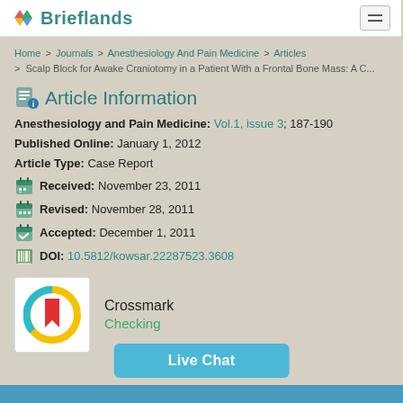Brieflands
Home > Journals > Anesthesiology And Pain Medicine > Articles > Scalp Block for Awake Craniotomy in a Patient With a Frontal Bone Mass: A C...
Article Information
Anesthesiology and Pain Medicine: Vol.1, issue 3; 187-190
Published Online: January 1, 2012
Article Type: Case Report
Received: November 23, 2011
Revised: November 28, 2011
Accepted: December 1, 2011
DOI: 10.5812/kowsar.22287523.3608
[Figure (logo): Crossmark logo — circular badge with red bookmark and yellow/teal ring]
Crossmark
Checking
Live Chat